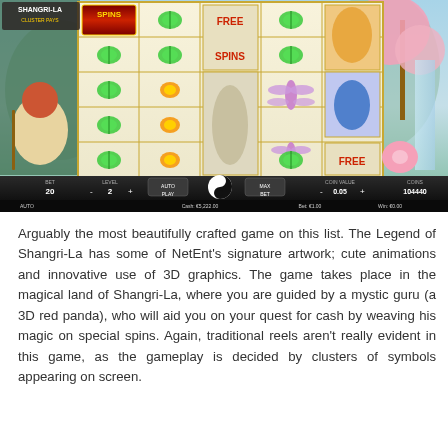[Figure (screenshot): Screenshot of the Legend of Shangri-La: Cluster Pays slot game by NetEnt, showing the game reels with butterfly symbols, FREE SPINS tile, monkey and animal character symbols, and the game UI bar at the bottom with BET 20, LEVEL 2, AUTO PLAY, MAX BET, COIN VALUE 0.05, COINS 104440.]
Arguably the most beautifully crafted game on this list. The Legend of Shangri-La has some of NetEnt's signature artwork; cute animations and innovative use of 3D graphics. The game takes place in the magical land of Shangri-La, where you are guided by a mystic guru (a 3D red panda), who will aid you on your quest for cash by weaving his magic on special spins. Again, traditional reels aren't really evident in this game, as the gameplay is decided by clusters of symbols appearing on screen.